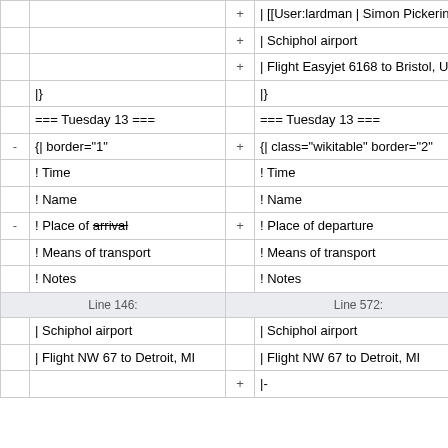|  | + | | [[User:lardman | Simon Pickering]] |
|  | + | | Schiphol airport |
|  | + | | Flight Easyjet 6168 to Bristol, UK |
| |} |  | |} |
| === Tuesday 13 === |  | === Tuesday 13 === |
| - | {| border="1" | + | {| class="wikitable" border="2" |
|  |  | ! Time |  | ! Time |
|  |  | ! Name |  | ! Name |
| - | ! Place of arrival | + | ! Place of departure |
|  |  | ! Means of transport |  | ! Means of transport |
|  |  | ! Notes |  | ! Notes |
| Line 146: |  | Line 572: |
|  |  | | Schiphol airport |  | | Schiphol airport |
|  |  | | Flight NW 67 to Detroit, MI |  | | Flight NW 67 to Detroit, MI |
|  | + | |- |